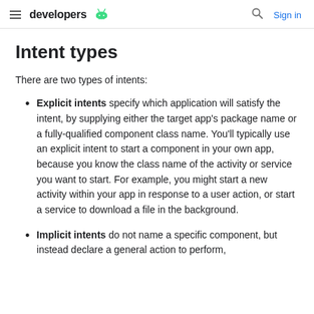developers | Sign in
Intent types
There are two types of intents:
Explicit intents specify which application will satisfy the intent, by supplying either the target app's package name or a fully-qualified component class name. You'll typically use an explicit intent to start a component in your own app, because you know the class name of the activity or service you want to start. For example, you might start a new activity within your app in response to a user action, or start a service to download a file in the background.
Implicit intents do not name a specific component, but instead declare a general action to perform,